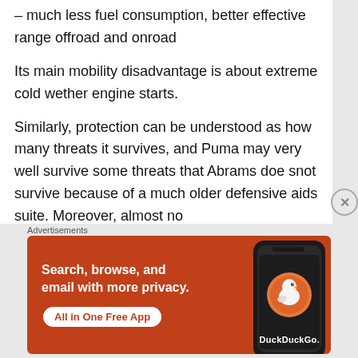– much less fuel consumption, better effective range offroad and onroad
Its main mobility disadvantage is about extreme cold wether engine starts.
Similarly, protection can be understood as how many threats it survives, and Puma may very well survive some threats that Abrams doe snot survive because of a much older defensive aids suite. Moreover, almost no
Advertisements
[Figure (infographic): DuckDuckGo advertisement banner with orange background showing text 'Search, browse, and email with more privacy.' with 'All in One Free App' button and a phone graphic with DuckDuckGo logo]